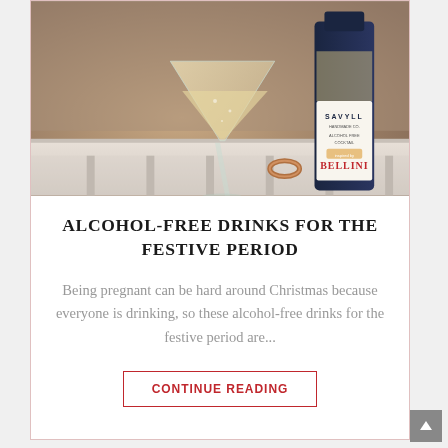[Figure (photo): A martini glass filled with a light golden drink beside a dark bottle labeled SAVYLL BELLINI Alcohol Free Cocktail, with a copper ring on a marble surface in the background]
ALCOHOL-FREE DRINKS FOR THE FESTIVE PERIOD
Being pregnant can be hard around Christmas because everyone is drinking, so these alcohol-free drinks for the festive period are...
CONTINUE READING